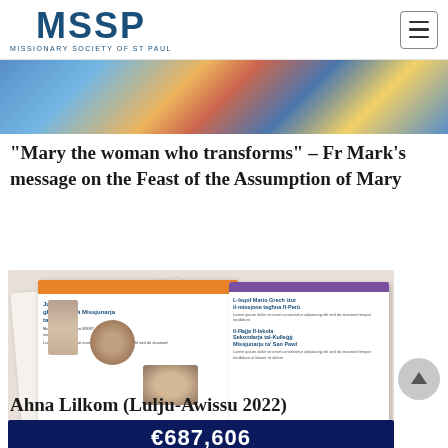MSSP - MISSIONARY SOCIETY OF ST PAUL
[Figure (photo): Colorful painting or artwork showing religious/cultural imagery — partial view, top strip]
“Mary the woman who transforms” – Fr Mark’s message on the Feast of the Assumption of Mary
[Figure (photo): Newsletter pages spread showing Ahna Lilkom publication with images of priests, churches, and Maltese text articles]
Ahna Lilkom (Lulju-Awissu 2022)
[Figure (photo): Dark blue background with large white text showing €687,606]